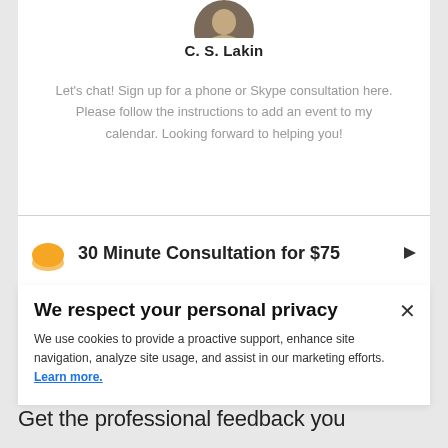[Figure (photo): Partial profile photo of C. S. Lakin cropped at top of card]
C. S. Lakin
Let's chat! Sign up for a phone or Skype consultation here. Please follow the instructions to add an event to my calendar. Looking forward to helping you!
[Figure (infographic): 30 Minute Consultation for $75 row with orange sun icon and right arrow]
We respect your personal privacy
We use cookies to provide a proactive support, enhance site navigation, analyze site usage, and assist in our marketing efforts. Learn more.
Get the professional feedback you